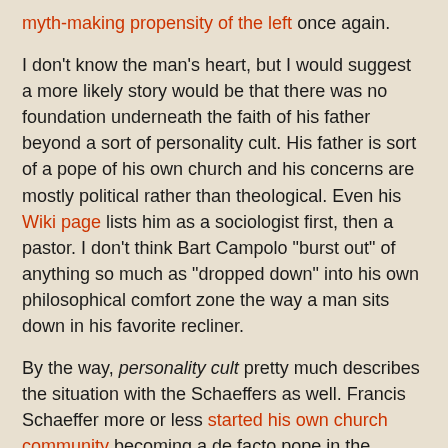myth-making propensity of the left once again.
I don't know the man's heart, but I would suggest a more likely story would be that there was no foundation underneath the faith of his father beyond a sort of personality cult. His father is sort of a pope of his own church and his concerns are mostly political rather than theological. Even his Wiki page lists him as a sociologist first, then a pastor. I don't think Bart Campolo "burst out" of anything so much as "dropped down" into his own philosophical comfort zone the way a man sits down in his favorite recliner.
By the way, personality cult pretty much describes the situation with the Schaeffers as well. Francis Schaeffer more or less started his own church community becoming a de facto pope in the process. This is most often not a good environment for a child to forming his faith in, seeing your dad act like a bear at home and some kind of angel out in public. Both these cases are good arguments for the celibacy of the clergy.